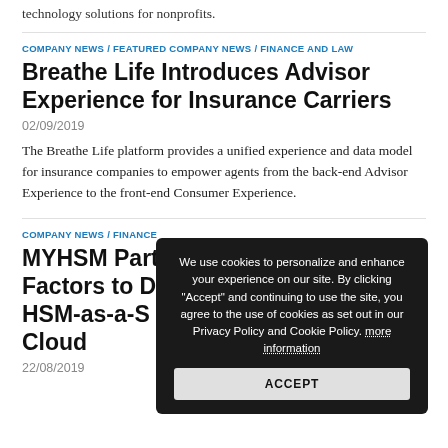technology solutions for nonprofits.
COMPANY NEWS / FEATURED COMPANY NEWS / FINANCE AND LAW
Breathe Life Introduces Advisor Experience for Insurance Carriers
02/09/2019
The Breathe Life platform provides a unified experience and data model for insurance companies to empower agents from the back-end Advisor Experience to the front-end Consumer Experience.
COMPANY NEWS / FINANCE ...
MYHSM Partners with Thales Factors to Deliver World's First HSM-as-a-S PAYSHIELD 10K in the Cloud
22/08/2019
[Figure (screenshot): Cookie consent overlay with dark background. Text: 'We use cookies to personalize and enhance your experience on our site. By clicking "Accept" and continuing to use the site, you agree to the use of cookies as set out in our Privacy Policy and Cookie Policy. more information'. Button labeled ACCEPT.]